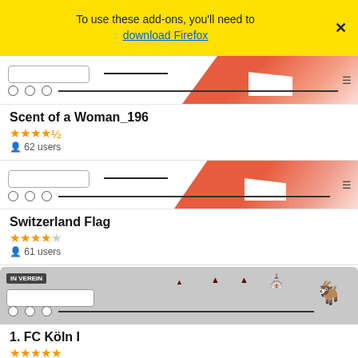To use these add-ons, you'll need to download Firefox
[Figure (screenshot): Preview thumbnail of Scent of a Woman_196 theme showing browser UI with orange/red gradient design]
Scent of a Woman_196
★★★★½ 62 users
[Figure (screenshot): Preview thumbnail of Switzerland Flag theme showing browser UI with red gradient]
Switzerland Flag
★★★★☆ 61 users
[Figure (screenshot): Preview thumbnail of 1. FC Köln I theme showing gray browser UI with FC Koln goat logo]
1. FC Köln I
★★★★★ 60 users
[Figure (screenshot): Partial preview of another theme with dark red gradient and shield logo]